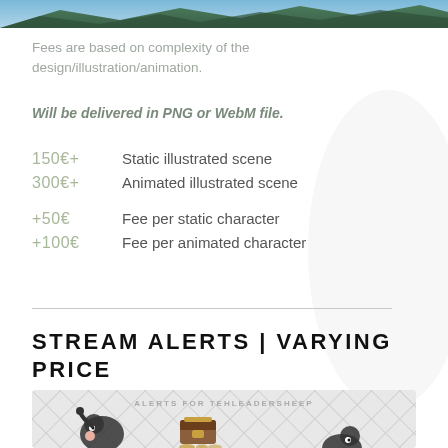[Figure (illustration): Top portion of a scenic illustrated scene with mountains and sky (cropped)]
Fees are based on complexity of the design/illustration/animation.
Will be delivered in PNG or WebM file.
150€+   Static illustrated scene
300€+   Animated illustrated scene
+50€   Fee per static character
+100€   Fee per animated character
STREAM ALERTS | VARYING PRICE
[Figure (illustration): Stream alerts showcase image labeled 'ALERTS FOR TEHLEADERSHEEP' showing cartoon sheep characters and a treasure chest on a diamond-pattern grey background]